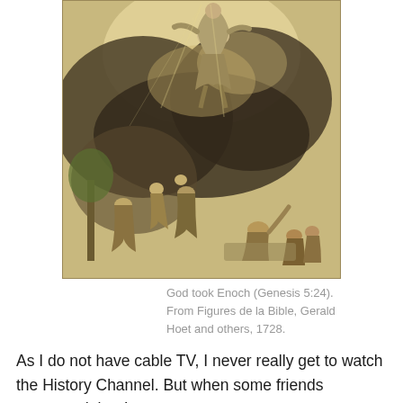[Figure (illustration): A sepia-toned engraving depicting God taking Enoch into heaven. A robed figure ascends through dark swirling clouds at the top, while a group of people below look upward in awe, some kneeling. The style is classical biblical illustration.]
God took Enoch (Genesis 5:24). From Figures de la Bible, Gerald Hoet and others, 1728.
As I do not have cable TV, I never really get to watch the History Channel. But when some friends suggested that I